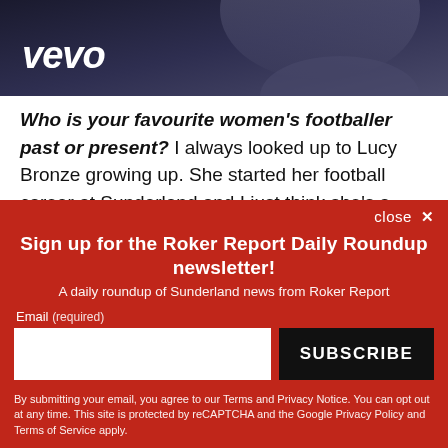[Figure (photo): Vevo logo on dark background with person silhouette]
Who is your favourite women's footballer past or present? I always looked up to Lucy Bronze growing up. She started her football career at Sunderland and I just think she's a great player with good mindset and attitude.
close ×
Sign up for the Roker Report Daily Roundup newsletter!
A daily roundup of Sunderland news from Roker Report
Email (required)
SUBSCRIBE
By submitting your email, you agree to our Terms and Privacy Notice. You can opt out at any time. This site is protected by reCAPTCHA and the Google Privacy Policy and Terms of Service apply.